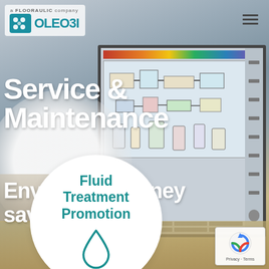[Figure (screenshot): Oleobi (a Flooraulic company) website screenshot showing a Service & Maintenance page with an industrial control panel/HMI screen in the background, a worker in a white hard hat, a white circular badge with 'Fluid Treatment Promotion' text and a water drop icon, hamburger menu icon, and a reCAPTCHA badge in the bottom right.]
a FLOORAULIC company | OLEOBI
Service & Maintenance
Envisaging money saving
Fluid Treatment Promotion
Privacy · Terms